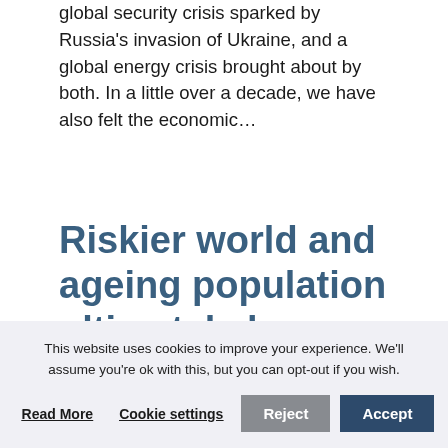global security crisis sparked by Russia's invasion of Ukraine, and a global energy crisis brought about by both. In a little over a decade, we have also felt the economic...
Riskier world and ageing population ultimately leave the
This website uses cookies to improve your experience. We'll assume you're ok with this, but you can opt-out if you wish.
Read More   Cookie settings   Reject   Accept